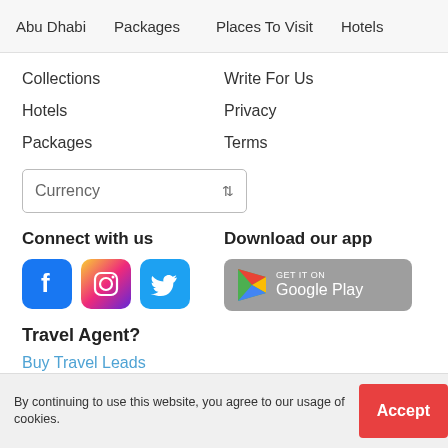Abu Dhabi   Packages   Places To Visit   Hotels
Collections
Write For Us
Hotels
Privacy
Packages
Terms
Currency
Connect with us
[Figure (logo): Facebook, Instagram, and Twitter social media icons]
Download our app
[Figure (logo): Get it on Google Play badge]
Travel Agent?
Buy Travel Leads
By continuing to use this website, you agree to our usage of cookies.